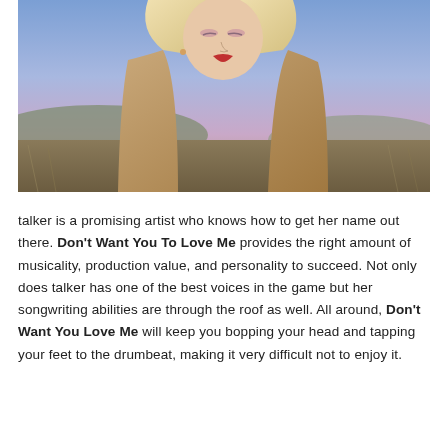[Figure (photo): A blonde woman wearing a tan blazer over a white turtleneck, standing outdoors in a dry field with hills and a purple-blue dusk sky in the background. She is looking downward.]
talker is a promising artist who knows how to get her name out there. Don't Want You To Love Me provides the right amount of musicality, production value, and personality to succeed. Not only does talker has one of the best voices in the game but her songwriting abilities are through the roof as well. All around, Don't Want You Love Me will keep you bopping your head and tapping your feet to the drumbeat, making it very difficult not to enjoy it.